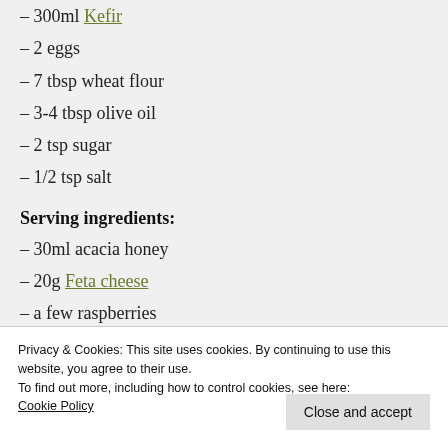– 300ml Kefir
– 2 eggs
– 7 tbsp wheat flour
– 3-4 tbsp olive oil
– 2 tsp sugar
– 1/2 tsp salt
Serving ingredients:
– 30ml acacia honey
– 20g Feta cheese
– a few raspberries
Privacy & Cookies: This site uses cookies. By continuing to use this website, you agree to their use.
To find out more, including how to control cookies, see here:
Cookie Policy
Close and accept